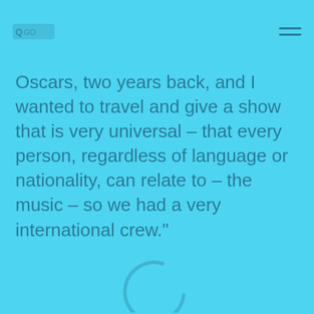Oscars, two years back, and I wanted to travel and give a show that is very universal – that every person, regardless of language or nationality, can relate to – the music – so we had a very international crew.”
To be held at the Grand Theatre at Marina Bay Sands, his show here promises to be more intimate.
The singer-composer said: “We had to tone down the show, because it’s a 2,000 seater, all the other shows were like 18,000. We had to make the stage a bit smaller, but it’s going